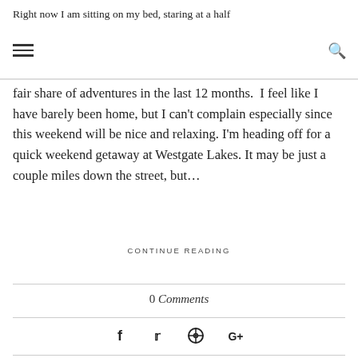Right now I am sitting on my bed, staring at a half
fair share of adventures in the last 12 months.  I feel like I have barely been home, but I can't complain especially since this weekend will be nice and relaxing. I'm heading off for a quick weekend getaway at Westgate Lakes. It may be just a couple miles down the street, but…
CONTINUE READING
0 Comments
[Figure (other): Social sharing icons: Facebook, Twitter, Pinterest, Google+]